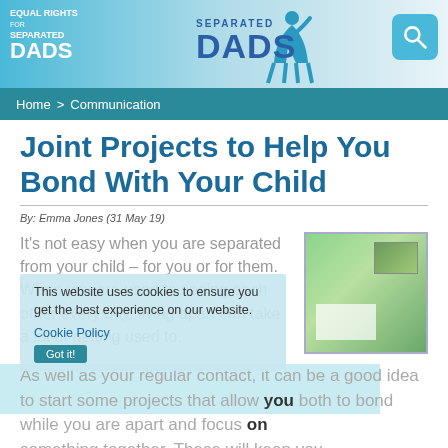[Figure (screenshot): Separated Dads website header banner with logo, silhouette figure, 'SEPARATED DADS' text, and search icon]
Home > Communication
Joint Projects to Help You Bond With Your Child
By: Emma Jones (31 May 19)
It’s not easy when you are separated from your child – for you or for them. When you are used to seeing each other every day, living apart can take a lot of getting used to.
[Figure (photo): Thumbnail image of a green-themed book or document cover]
This website uses cookies to ensure you get the best experience on our website.
Cookie Policy
As well as your regular contact, it can be a good idea to start some projects that allow you both to bond while you are apart and focus on something together. These will keep you